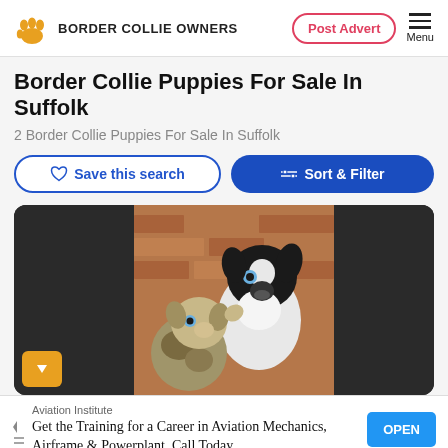BORDER COLLIE OWNERS | Post Advert | Menu
Border Collie Puppies For Sale In Suffolk
2 Border Collie Puppies For Sale In Suffolk
Save this search
Sort & Filter
[Figure (photo): Two Border Collie puppies, one black and white with blue eyes, sitting against a brick wall. A navigation arrow button is visible in the bottom left of the card.]
Aviation Institute
Get the Training for a Career in Aviation Mechanics, Airframe & Powerplant. Call Today.